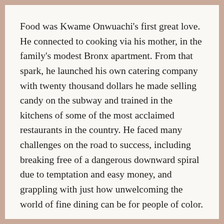Food was Kwame Onwuachi's first great love. He connected to cooking via his mother, in the family's modest Bronx apartment. From that spark, he launched his own catering company with twenty thousand dollars he made selling candy on the subway and trained in the kitchens of some of the most acclaimed restaurants in the country. He faced many challenges on the road to success, including breaking free of a dangerous downward spiral due to temptation and easy money, and grappling with just how unwelcoming the world of fine dining can be for people of color.
Born on Long Island and raised in New York City, Nigeria, and Louisiana, Kwame Onwuachi's incredible story is one of survival and triumph, about how he found the courage